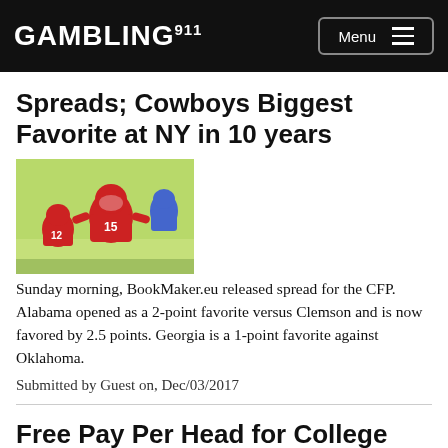GAMBLING911 Menu
Spreads; Cowboys Biggest Favorite at NY in 10 years
[Figure (photo): Illustration of football players in red jerseys numbered 12 and 15 running on a field]
Sunday morning, BookMaker.eu released spread for the CFP. Alabama opened as a 2-point favorite versus Clemson and is now favored by 2.5 points. Georgia is a 1-point favorite against Oklahoma.
Submitted by Guest on, Dec/03/2017
Free Pay Per Head for College Football Bowl Games